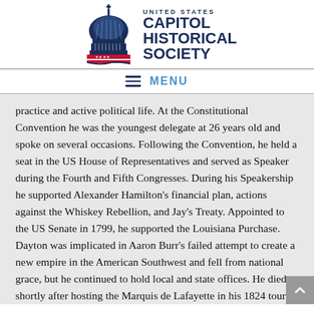[Figure (logo): United States Capitol Historical Society logo with Capitol dome illustration and American flag banner]
≡ MENU
practice and active political life. At the Constitutional Convention he was the youngest delegate at 26 years old and spoke on several occasions. Following the Convention, he held a seat in the US House of Representatives and served as Speaker during the Fourth and Fifth Congresses. During his Speakership he supported Alexander Hamilton's financial plan, actions against the Whiskey Rebellion, and Jay's Treaty. Appointed to the US Senate in 1799, he supported the Louisiana Purchase. Dayton was implicated in Aaron Burr's failed attempt to create a new empire in the American Southwest and fell from national grace, but he continued to hold local and state offices. He died shortly after hosting the Marquis de Lafayette in his 1824 tour of America. As he owned